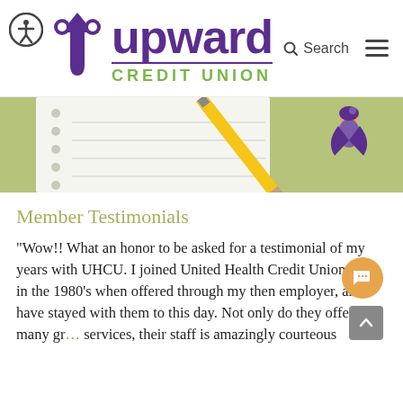[Figure (logo): Upward Credit Union logo with accessibility icon, purple upward arrow U shape, 'upward' in bold purple text, 'CREDIT UNION' in green spaced letters, plus Search and hamburger menu navigation]
[Figure (photo): Photo of a spiral-bound notebook, yellow pencil, and a small superhero cartoon character sticker on a green background]
Member Testimonials
“Wow!! What an honor to be asked for a testimonial of my years with UHCU. I joined United Health Credit Union back in the 1980’s when offered through my then employer, and have stayed with them to this day. Not only do they offer many gr… services, their staff is amazingly courteous